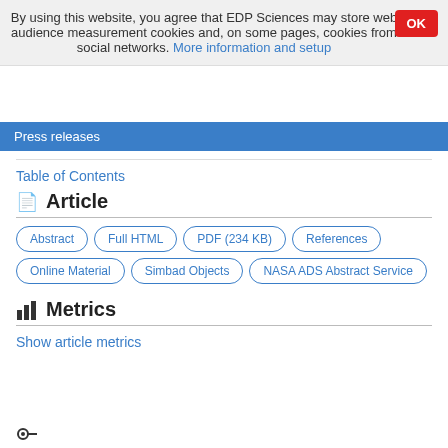By using this website, you agree that EDP Sciences may store web audience measurement cookies and, on some pages, cookies from social networks. More information and setup
Press releases
Table of Contents
Article
Abstract
Full HTML
PDF (234 KB)
References
Online Material
Simbad Objects
NASA ADS Abstract Service
Metrics
Show article metrics